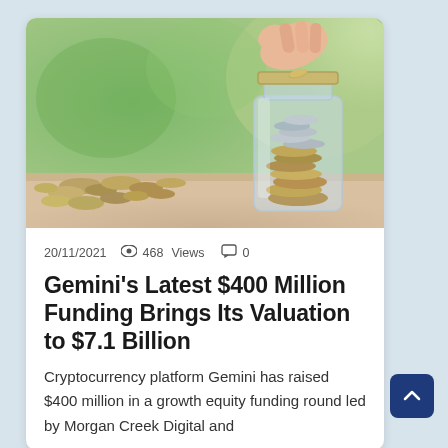[Figure (photo): A hand dropping a coin into a glass jar filled with coins, with more coins spilled on a wooden surface, green bokeh background]
20/11/2021   👁 468   Views   💬 0
Gemini's Latest $400 Million Funding Brings Its Valuation to $7.1 Billion
Cryptocurrency platform Gemini has raised $400 million in a growth equity funding round led by Morgan Creek Digital and